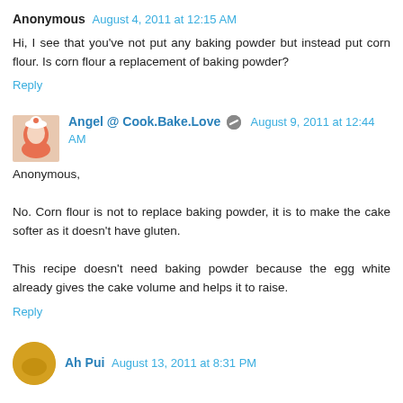Anonymous August 4, 2011 at 12:15 AM
Hi, I see that you've not put any baking powder but instead put corn flour. Is corn flour a replacement of baking powder?
Reply
Angel @ Cook.Bake.Love August 9, 2011 at 12:44 AM
Anonymous,

No. Corn flour is not to replace baking powder, it is to make the cake softer as it doesn't have gluten.

This recipe doesn't need baking powder because the egg white already gives the cake volume and helps it to raise.
Reply
Ah Pui August 13, 2011 at 8:31 PM